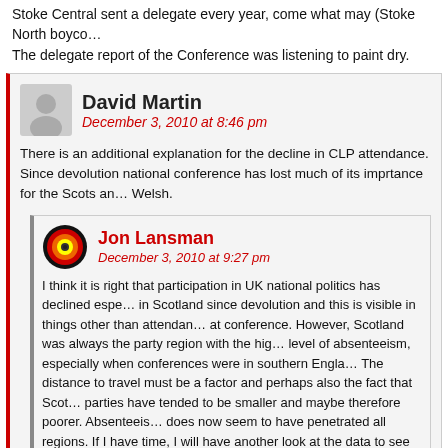Stoke Central sent a delegate every year, come what may (Stoke North boyco… The delegate report of the Conference was listening to paint dry.
David Martin
December 3, 2010 at 8:46 pm
There is an additional explanation for the decline in CLP attendance. Since devolution national conference has lost much of its imprtance for the Scots and Welsh.
Jon Lansman
December 3, 2010 at 9:27 pm
I think it is right that participation in UK national politics has declined especially in Scotland since devolution and this is visible in things other than attendance at conference. However, Scotland was always the party region with the highest level of absenteeism, especially when conferences were in southern England. The distance to travel must be a factor and perhaps also the fact that Scottish parties have tended to be smaller and maybe therefore poorer. Absenteeism does now seem to have penetrated all regions. If I have time, I will have another look at the data to see whether it can throw further light on this.